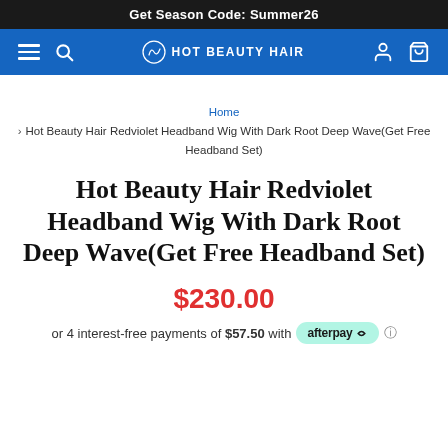Get Season Code: Summer26
[Figure (logo): Hot Beauty Hair navigation bar with hamburger menu, search icon, logo, user icon, and cart icon on blue background]
Home > Hot Beauty Hair Redviolet Headband Wig With Dark Root Deep Wave(Get Free Headband Set)
Hot Beauty Hair Redviolet Headband Wig With Dark Root Deep Wave(Get Free Headband Set)
$230.00
or 4 interest-free payments of $57.50 with afterpay